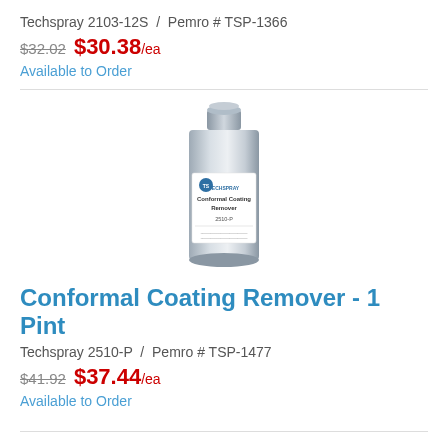Techspray 2103-12S  /  Pemro # TSP-1366
$32.02  $30.38/ea
Available to Order
[Figure (photo): Silver metal pint can of Techspray Conformal Coating Remover with white label]
Conformal Coating Remover - 1 Pint
Techspray 2510-P  /  Pemro # TSP-1477
$41.92  $37.44/ea
Available to Order